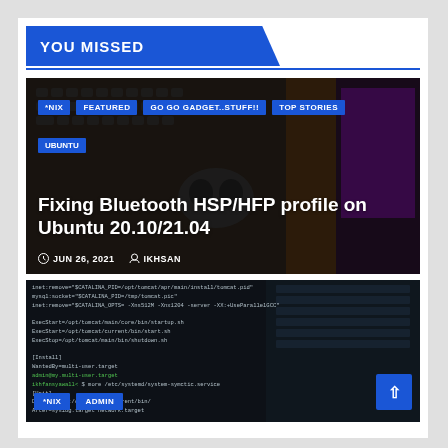YOU MISSED
[Figure (photo): Article card with background photo of keyboard and wireless earbuds on wooden desk. Category tags: *NIX, FEATURED, GO GO GADGET..STUFF!!, TOP STORIES, UBUNTU. Article title: Fixing Bluetooth HSP/HFP profile on Ubuntu 20.10/21.04. Date: JUN 26, 2021. Author: IKHSAN.]
[Figure (screenshot): Terminal/command line screenshot showing Linux shell commands and systemd service configuration text in dark theme.]
*NIX
ADMIN